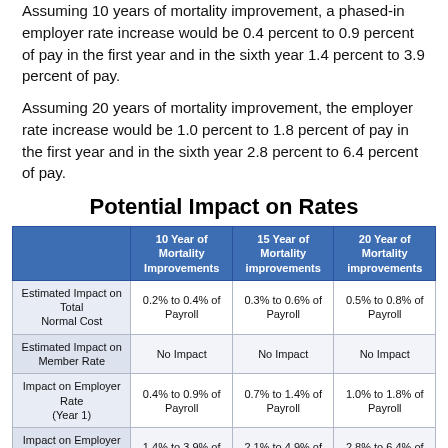Assuming 10 years of mortality improvement, a phased-in employer rate increase would be 0.4 percent to 0.9 percent of pay in the first year and in the sixth year 1.4 percent to 3.9 percent of pay.
Assuming 20 years of mortality improvement, the employer rate increase would be 1.0 percent to 1.8 percent of pay in the first year and in the sixth year 2.8 percent to 6.4 percent of pay.
Potential Impact on Rates
|  | 10 Year of Mortality Improvements | 15 Year of Mortality improvements | 20 Year of Mortality improvements |
| --- | --- | --- | --- |
| Estimated Impact on Total Normal Cost | 0.2% to 0.4% of Payroll | 0.3% to 0.6% of Payroll | 0.5% to 0.8% of Payroll |
| Estimated Impact on Member Rate | No Impact | No Impact | No Impact |
| Impact on Employer Rate (Year 1) | 0.4% to 0.9% of Payroll | 0.7% to 1.4% of Payroll | 1.0% to 1.8% of Payroll |
| Impact on Employer Rate (Year 6) | 1.4% to 3.9% of Payroll | 2.1% to 4.9% of Payroll | 2.8% to 6.4% of Payroll |